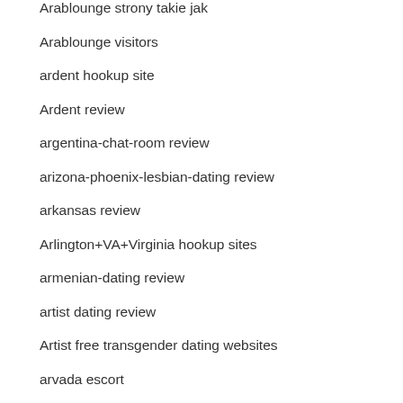Arablounge strony takie jak
Arablounge visitors
ardent hookup site
Ardent review
argentina-chat-room review
arizona-phoenix-lesbian-dating review
arkansas review
Arlington+VA+Virginia hookup sites
armenian-dating review
artist dating review
Artist free transgender dating websites
arvada escort
Asexual Dating aplicaciones reddit
Asexual Dating siti per adulti
Asexual Dating username